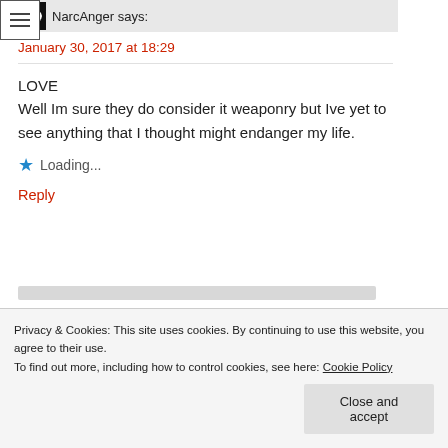[Figure (other): Hamburger menu icon (three horizontal lines) in a rectangular border]
NarcAnger says:
January 30, 2017 at 18:29
LOVE
Well Im sure they do consider it weaponry but Ive yet to see anything that I thought might endanger my life.
Loading...
Reply
Privacy & Cookies: This site uses cookies. By continuing to use this website, you agree to their use.
To find out more, including how to control cookies, see here: Cookie Policy
Close and accept